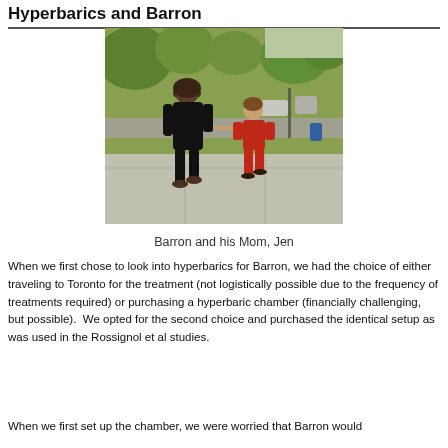Hyperbarics and Barron
[Figure (photo): Outdoor photo of a woman in black clothing and a young child in a red outfit walking together on a sidewalk, holding hands, with trees and greenery in the background.]
Barron and his Mom, Jen
When we first chose to look into hyperbarics for Barron, we had the choice of either traveling to Toronto for the treatment (not logistically possible due to the frequency of treatments required) or purchasing a hyperbaric chamber (financially challenging, but possible).  We opted for the second choice and purchased the identical setup as was used in the Rossignol et al studies.
When we first set up the chamber, we were worried that Barron would